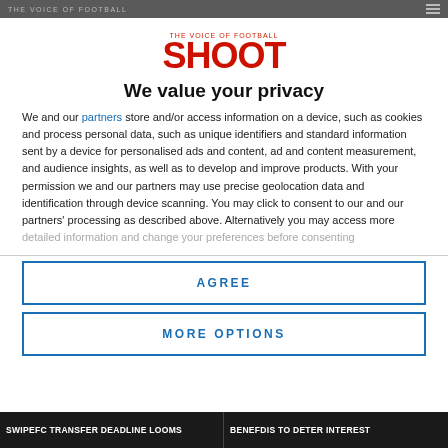THE VOICE OF FOOTBALL
[Figure (logo): SHOOT logo with tagline THE VOICE OF FOOTBALL in red]
We value your privacy
We and our partners store and/or access information on a device, such as cookies and process personal data, such as unique identifiers and standard information sent by a device for personalised ads and content, ad and content measurement, and audience insights, as well as to develop and improve products. With your permission we and our partners may use precise geolocation data and identification through device scanning. You may click to consent to our and our partners' processing as described above. Alternatively you may access more detailed information and change your preferences before consenting
AGREE
MORE OPTIONS
SWIPEFC TRANSFER DEADLINE LOOMS | BENEFDIS TO DETER INTEREST